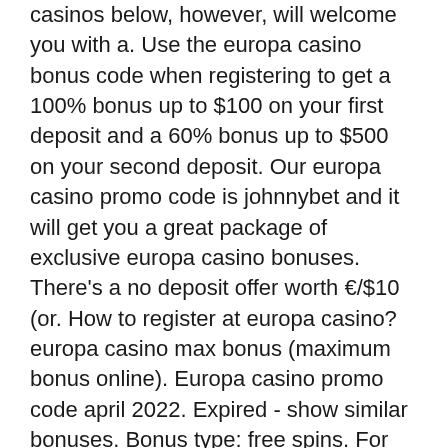casinos below, however, will welcome you with a. Use the europa casino bonus code when registering to get a 100% bonus up to $100 on your first deposit and a 60% bonus up to $500 on your second deposit. Our europa casino promo code is johnnybet and it will get you a great package of exclusive europa casino bonuses. There's a no deposit offer worth €/$10 (or. How to register at europa casino? europa casino max bonus (maximum bonus online). Europa casino promo code april 2022. Expired - show similar bonuses. Bonus type: free spins. For players: account holders. Europa casino no deposit bonus promo codes 2022. We make use of cookies to enhance. Must use promo code maxsportnjnew. New players only, 21+ or older. Betmgm logo, risk free first bet up to $1,000. Get the best europa casino bonus code at casinobonus. Net! europa